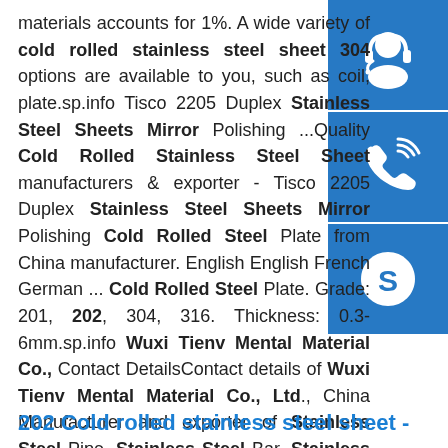materials accounts for 1%. A wide variety of cold rolled stainless steel sheet 304 options are available to you, such as coil, plate.sp.info Tisco 2205 Duplex Stainless Steel Sheets Mirror Polishing ...Quality Cold Rolled Stainless Steel Sheet manufacturers & exporter - Tisco 2205 Duplex Stainless Steel Sheets Mirror Polishing Cold Rolled Steel Plate from China manufacturer. English English French German ... Cold Rolled Steel Plate. Grade: 201, 202, 304, 316. Thickness: 0.3-6mm.sp.info Wuxi Tienv Mental Material Co., Contact DetailsContact details of Wuxi Tienv Mental Material Co., Ltd., China Manufacturer and exporter of Stainless Steel Pipe, Stainless Steel Bar, Stainless Steel Coil, Stainless Steel Plate, Stainless Steel Rope. ... Stainless Steel Coil manufacturer / supplier in China, offering Colded Rolled Mirror Finish Custom Stainless Steel Pipe with Grade 301 ...
[Figure (illustration): Three blue sidebar buttons: headset/customer support icon, phone/call icon, and Skype icon]
202 Cold rolled stainless steel sheet -